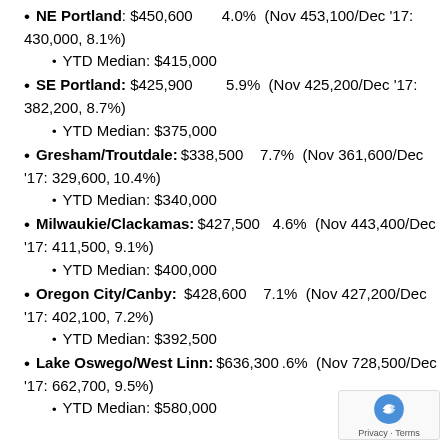NE Portland: $450,600  4.0%  (Nov 453,100/Dec '17: 430,000, 8.1%)
YTD Median: $415,000
SE Portland: $425,900  5.9%  (Nov 425,200/Dec '17: 382,200, 8.7%)
YTD Median: $375,000
Gresham/Troutdale: $338,500  7.7%  (Nov 361,600/Dec '17: 329,600, 10.4%)
YTD Median: $340,000
Milwaukie/Clackamas: $427,500  4.6%  (Nov 443,400/Dec '17: 411,500, 9.1%)
YTD Median: $400,000
Oregon City/Canby: $428,600  7.1%  (Nov 427,200/Dec '17: 402,100, 7.2%)
YTD Median: $392,500
Lake Oswego/West Linn: $636,300 .6%  (Nov 728,500/Dec '17: 662,700, 9.5%)
YTD Median: $580,000